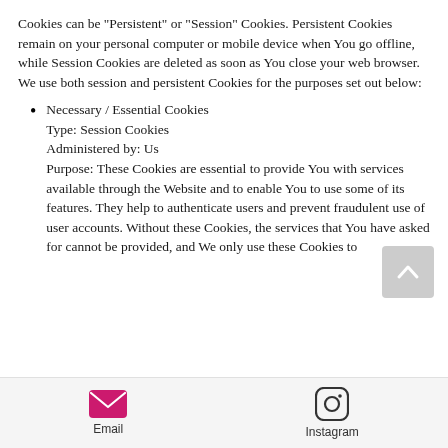Cookies can be "Persistent" or "Session" Cookies. Persistent Cookies remain on your personal computer or mobile device when You go offline, while Session Cookies are deleted as soon as You close your web browser.
We use both session and persistent Cookies for the purposes set out below:
Necessary / Essential Cookies
Type: Session Cookies
Administered by: Us
Purpose: These Cookies are essential to provide You with services available through the Website and to enable You to use some of its features. They help to authenticate users and prevent fraudulent use of user accounts. Without these Cookies, the services that You have asked for cannot be provided, and We only use these Cookies to
Email  Instagram